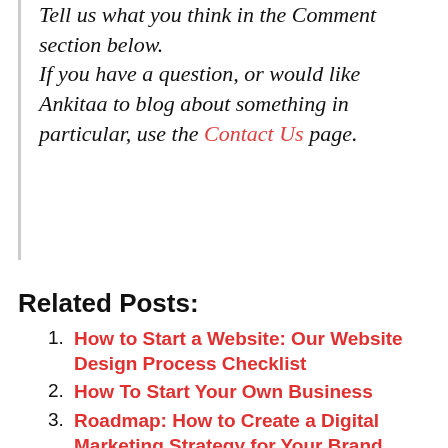Tell us what you think in the Comment section below. If you have a question, or would like Ankitaa to blog about something in particular, use the Contact Us page.
Related Posts:
How to Start a Website: Our Website Design Process Checklist
How To Start Your Own Business
Roadmap: How to Create a Digital Marketing Strategy for Your Brand
What is Digital Marketing?